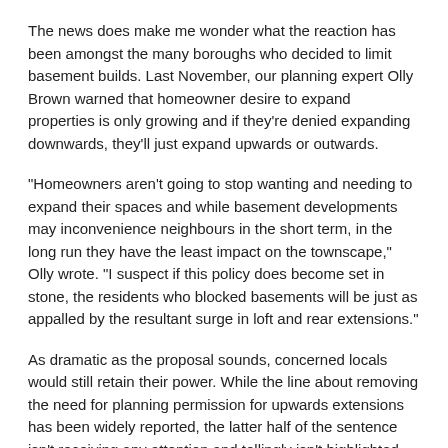The news does make me wonder what the reaction has been amongst the many boroughs who decided to limit basement builds. Last November, our planning expert Olly Brown warned that homeowner desire to expand properties is only growing and if they're denied expanding downwards, they'll just expand upwards or outwards.
“Homeowners aren’t going to stop wanting and needing to expand their spaces and while basement developments may inconvenience neighbours in the short term, in the long run they have the least impact on the townscape,” Olly wrote. “I suspect if this policy does become set in stone, the residents who blocked basements will be just as appalled by the resultant surge in loft and rear extensions.”
As dramatic as the proposal sounds, concerned locals would still retain their power. While the line about removing the need for planning permission for upwards extensions has been widely reported, the latter half of the sentence isn’t receiving any attention and tellingly isn’t highlighted for emphasis in the Productivity Plan.
The complete statement reads:
“The government will therefore work with the Mayor of London to bring forward proposals to remove the need for planning permission for upwards extensions for a limited number of stories up to the height of an adjoining building, where neighbouring residents do not object. In cases where